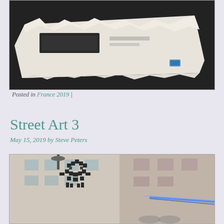[Figure (photo): Photo of torn paper/poster on dark ground, street art remnants]
Posted in France 2019 |
Street Art 3
May 15, 2019 by Steve Peters
[Figure (photo): Photo of pixel art street art (Space Invader style mosaic) on a Paris building wall, with a blue light streak visible]